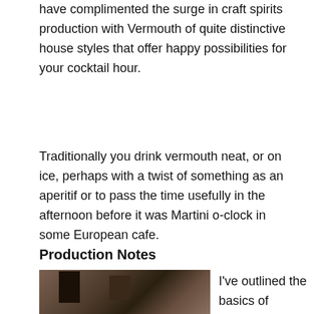have complimented the surge in craft spirits production with Vermouth of quite distinctive house styles that offer happy possibilities for your cocktail hour.
Traditionally you drink vermouth neat, or on ice, perhaps with a twist of something as an aperitif or to pass the time usefully in the afternoon before it was Martini o-clock in some European cafe.
Production Notes
[Figure (photo): A photo of what appears to be a bar or home bar setup, showing bottles and glassware on a shelf against a warm-toned wall, with a dark rectangular shape (window or cabinet) visible.]
I've outlined the basics of vermouth